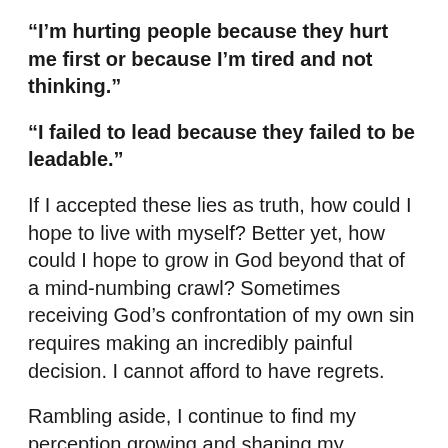“I’m hurting people because they hurt me first or because I’m tired and not thinking.”
“I failed to lead because they failed to be leadable.”
If I accepted these lies as truth, how could I hope to live with myself? Better yet, how could I hope to grow in God beyond that of a mind-numbing crawl? Sometimes receiving God’s confrontation of my own sin requires making an incredibly painful decision. I cannot afford to have regrets.
Rambling aside, I continue to find my perception growing and shaping my worldview. My understanding of humanity, fueled by a deep